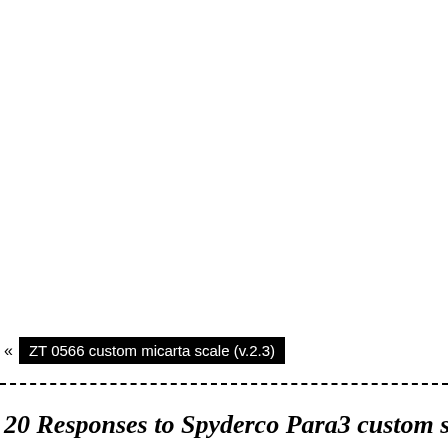« ZT 0566 custom micarta scale (v.2.3)
20 Responses to Spyderco Para3 custom scales (…